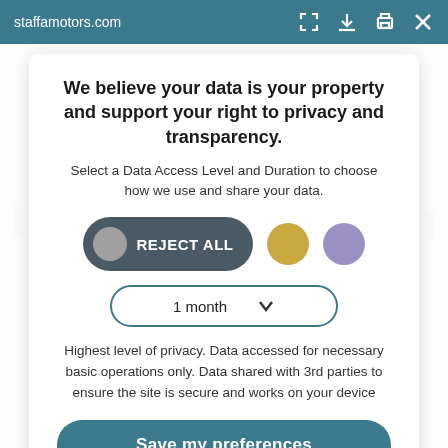staffamotors.com
We believe your data is your property and support your right to privacy and transparency.
Select a Data Access Level and Duration to choose how we use and share your data.
[Figure (screenshot): REJECT ALL toggle button with grey circle on left, plus a gold circle and a purple circle to the right]
[Figure (screenshot): Dropdown selector showing '1 month' with a chevron/arrow icon]
Highest level of privacy. Data accessed for necessary basic operations only. Data shared with 3rd parties to ensure the site is secure and works on your device
Save my preferences